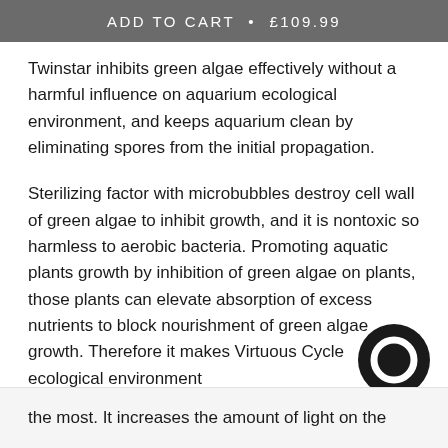ADD TO CART · £109.99
Twinstar inhibits green algae effectively without a harmful influence on aquarium ecological environment, and keeps aquarium clean by eliminating spores from the initial propagation.
Sterilizing factor with microbubbles destroy cell wall of green algae to inhibit growth, and it is nontoxic so harmless to aerobic bacteria. Promoting aquatic plants growth by inhibition of green algae on plants, those plants can elevate absorption of excess nutrients to block nourishment of green algae growth. Therefore it makes Virtuous Cycle ecological environment
[Figure (illustration): Chat bubble / customer support icon — dark circular button with a ring shape, positioned bottom-right]
the most. It increases the amount of light on the